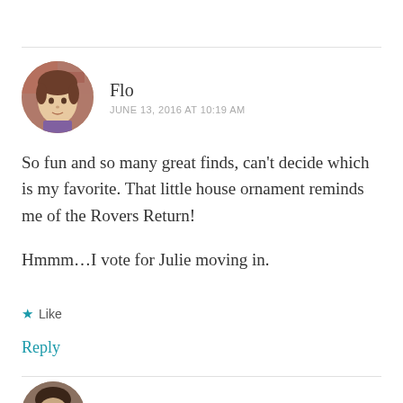Flo
JUNE 13, 2016 AT 10:19 AM
So fun and so many great finds, can't decide which is my favorite. That little house ornament reminds me of the Rovers Return!
Hmmm...I vote for Julie moving in.
Like
Reply
bennettv